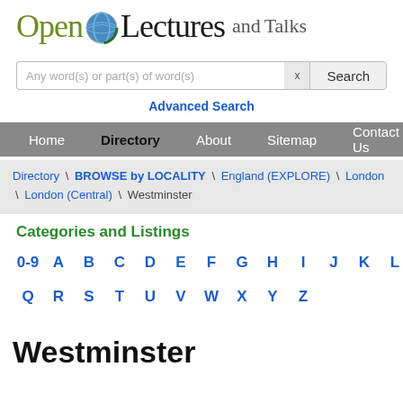[Figure (logo): Open Lectures and Talks logo with globe icon]
Any word(s) or part(s) of word(s)
Advanced Search
Home  Directory  About  Sitemap  Contact Us
Directory \ BROWSE by LOCALITY \ England (EXPLORE) \ London \ London (Central) \ Westminster
Categories and Listings
0-9  A  B  C  D  E  F  G  H  I  J  K  L  M  N  O  P  Q  R  S  T  U  V  W  X  Y  Z
Westminster